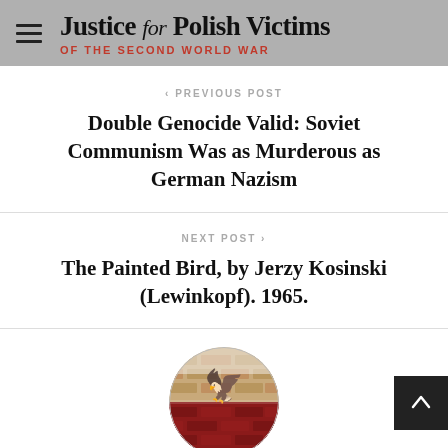Justice for Polish Victims OF THE SECOND WORLD WAR
< PREVIOUS POST
Double Genocide Valid: Soviet Communism Was as Murderous as German Nazism
NEXT POST >
The Painted Bird, by Jerzy Kosinski (Lewinkopf). 1965.
[Figure (photo): Circular avatar image showing the Polish flag (white and red horizontal stripes) with the Polish eagle coat of arms on a brick wall texture background]
Polonia